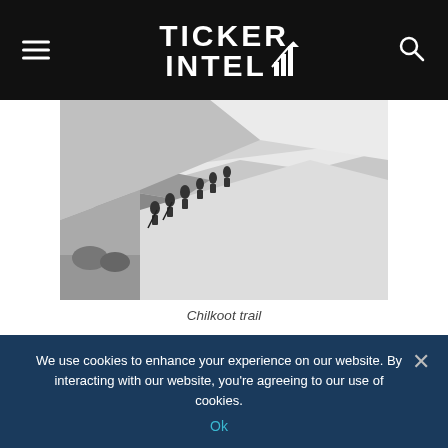TICKER INTEL
[Figure (photo): Black and white photograph of people climbing the Chilkoot trail, steep snowy mountainside with figures in silhouette]
Chilkoot trail
The arduous journey up the Pacific coast, often on overcrowded and unsafe vessels, was just the start. After they arrived in Alaskan port cities, there was the mountainous trek inland to the headwaters of the Yukon River. The North West Mounted Police required that Klondike-bound stampeders carry at least a year's worth
We use cookies to enhance your experience on our website. By interacting with our website, you're agreeing to our use of cookies.
Ok